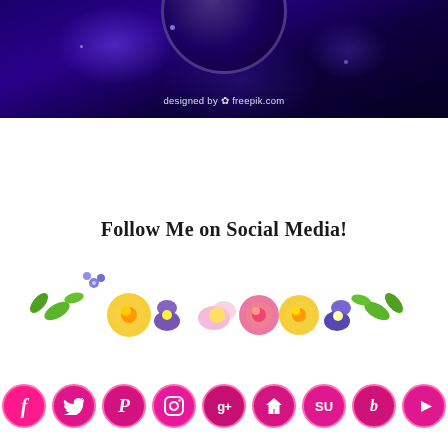[Figure (illustration): Dark purple cosmic/space background banner with glowing orbs, sparkles, and a dark circular disc at top center. Text reads 'designed by freepik.com' in white at bottom center of banner.]
[Figure (illustration): Watercolor floral decoration with text 'Follow Me on Social Media!' above colorful flowers including yellow roses, pink flowers, purple pansies, and green leaves arranged in a horizontal garland.]
[Figure (illustration): Row of 9 pink/magenta circular social media icon buttons: Facebook, Twitter, Pinterest, Instagram, Google+, Home/website, StumbleUpon, Blogger, YouTube.]